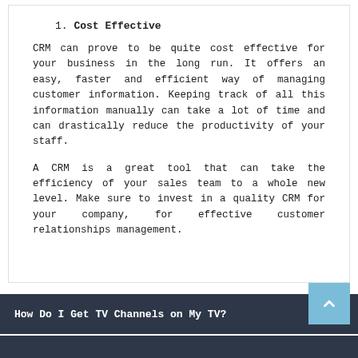1. Cost Effective
CRM can prove to be quite cost effective for your business in the long run. It offers an easy, faster and efficient way of managing customer information. Keeping track of all this information manually can take a lot of time and can drastically reduce the productivity of your staff.
A CRM is a great tool that can take the efficiency of your sales team to a whole new level. Make sure to invest in a quality CRM for your company, for effective customer relationships management.
How Do I Get TV Channels on My TV?